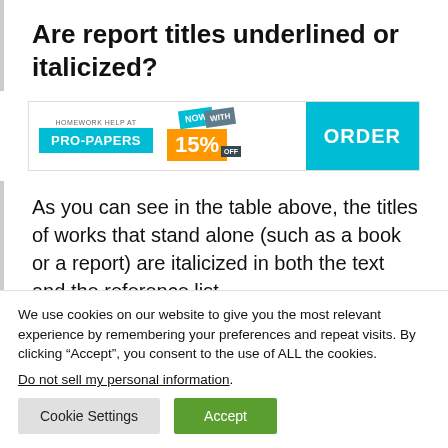Are report titles underlined or italicized?
[Figure (other): Advertisement banner for Pro-Papers homework help service with 'Now With 15% Off' offer and 'ORDER' button]
As you can see in the table above, the titles of works that stand alone (such as a book or a report) are italicized in both the text and the reference list.
We use cookies on our website to give you the most relevant experience by remembering your preferences and repeat visits. By clicking “Accept”, you consent to the use of ALL the cookies.
Do not sell my personal information.
Cookie Settings | Accept